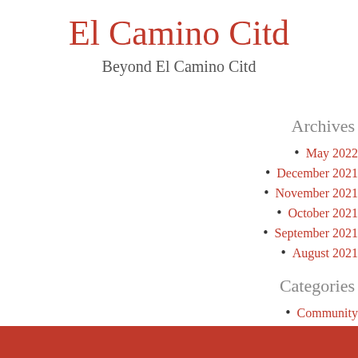El Camino Citd
Beyond El Camino Citd
Archives
May 2022
December 2021
November 2021
October 2021
September 2021
August 2021
Categories
Community